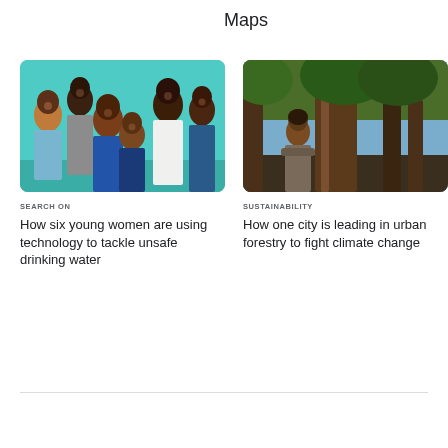Maps
[Figure (photo): Group of six young women smiling together in front of a teal/turquoise wall]
SEARCH ON
How six young women are using technology to tackle unsafe drinking water
[Figure (photo): A woman standing with arms crossed next to a large tree in a forest setting]
SUSTAINABILITY
How one city is leading in urban forestry to fight climate change